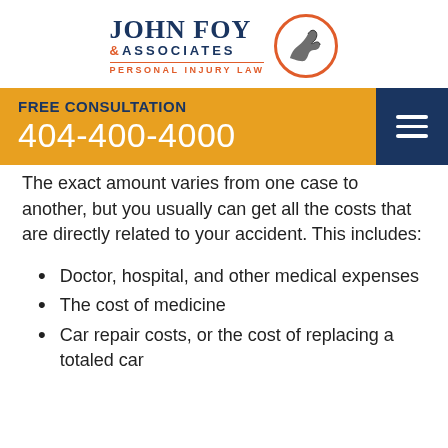[Figure (logo): John Foy & Associates Personal Injury Law logo with flexing arm in orange circle]
FREE CONSULTATION
404-400-4000
The exact amount varies from one case to another, but you usually can get all the costs that are directly related to your accident. This includes:
Doctor, hospital, and other medical expenses
The cost of medicine
Car repair costs, or the cost of replacing a totaled car